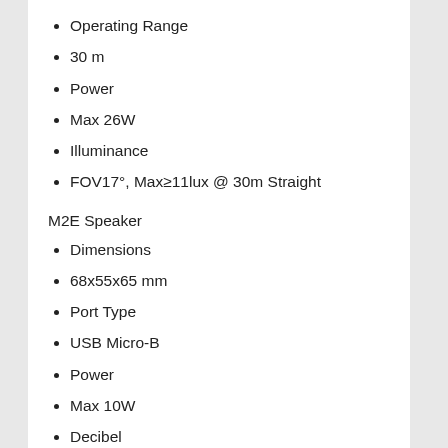Operating Range
30 m
Power
Max 26W
Illuminance
FOV17°, Max≥11lux @ 30m Straight
M2E Speaker
Dimensions
68x55x65 mm
Port Type
USB Micro-B
Power
Max 10W
Decibel